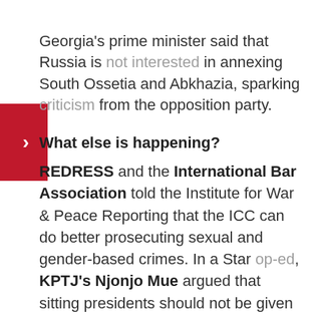Georgia's prime minister said that Russia is not interested in annexing South Ossetia and Abkhazia, sparking criticism from the opposition party.
What else is happening?
REDRESS and the International Bar Association told the Institute for War & Peace Reporting that the ICC can do better prosecuting sexual and gender-based crimes. In a Star op-ed, KPTJ's Njonjo Mue argued that sitting presidents should not be given immunity before the proposed expanded African Court. HRW maintained that any South Sudan peace deal should contain no amnesty for grave crimes and criticized an Arab League regional court proposal because it denies individuals the right to file complaints. AI called on the UN Security Council to refer the massacres in Rojava, Turkey to the